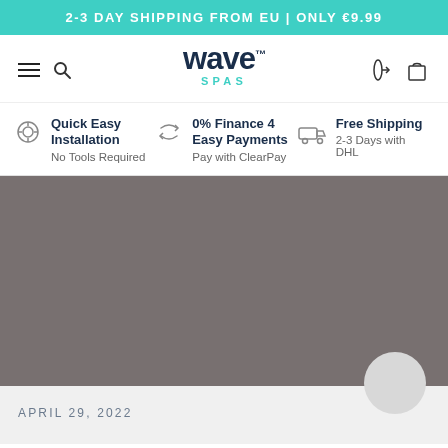2-3 DAY SHIPPING FROM EU | ONLY €9.99
[Figure (logo): Wave Spas logo with hamburger menu, search icon, language selector, and cart icon in navigation bar]
Quick Easy Installation
No Tools Required
0% Finance 4 Easy Payments
Pay with ClearPay
Free Shipping
2-3 Days with DHL
[Figure (photo): Gray placeholder image area for product photo]
APRIL 29, 2022